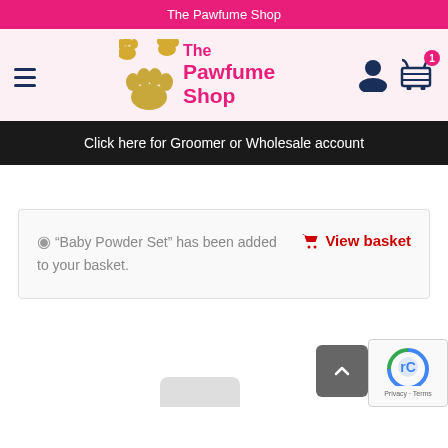The Pawfume Shop
[Figure (logo): The Pawfume Shop logo with golden paw prints and pink text]
Click here for Groomer or Wholesale account
“Baby Powder Set” has been added to your basket.
View basket
[Figure (screenshot): Scroll-to-top button (dark grey) with upward chevron arrow]
[Figure (screenshot): reCAPTCHA widget showing Privacy and Terms links]